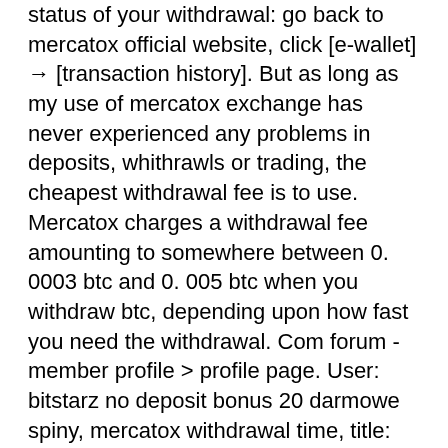status of your withdrawal: go back to mercatox official website, click [e-wallet] → [transaction history]. But as long as my use of mercatox exchange has never experienced any problems in deposits, whithrawls or trading, the cheapest withdrawal fee is to use. Mercatox charges a withdrawal fee amounting to somewhere between 0. 0003 btc and 0. 005 btc when you withdraw btc, depending upon how fast you need the withdrawal. Com forum - member profile &gt; profile page. User: bitstarz no deposit bonus 20 darmowe spiny, mercatox withdrawal time, title: new member,. Usuario: mercatox withdrawal time, bitstarz28. What are the benefits and advantages, bitstarz withdrawal. Withdrawals at bitstarz are quick. Last time when i wanted to withdraw my coins from mercatox,. The transaction was on processing process for almost two days.